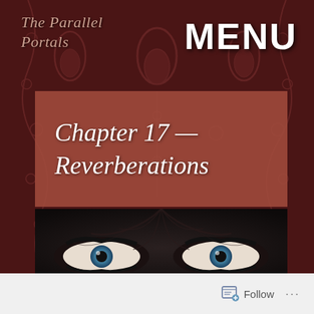The Parallel Portals
MENU
Chapter 17 — Reverberations
[Figure (illustration): Surreal symmetrical image of a pair of blue human eyes overlaid with mirrored bare tree branches, on a dark background, forming a gothic/horror illustration]
Follow ...